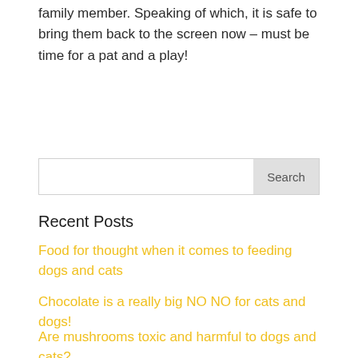family member. Speaking of which, it is safe to bring them back to the screen now – must be time for a pat and a play!
Search
Recent Posts
Food for thought when it comes to feeding dogs and cats
Chocolate is a really big NO NO for cats and dogs!
Are mushrooms toxic and harmful to dogs and cats?